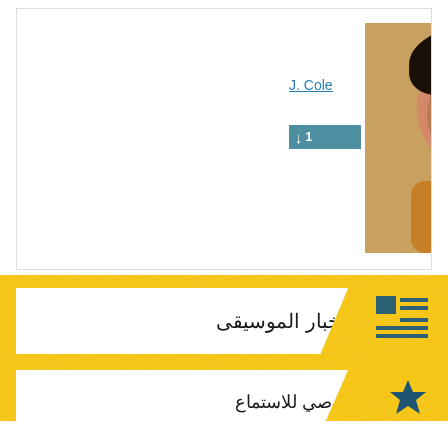[Figure (screenshot): Top white card area showing partial view of J. Cole with artist name link and download bar with number 1]
J. Cole
↓ 1
[Figure (photo): Photo of J. Cole wearing tan/orange sweater with curly hair, yellow/golden background]
أخبار الموسيقى
يوصي للاستماع
[Figure (screenshot): Bottom card showing a man's photo on left, yellow play button, and song title Party Like A Russian with duration 3:03]
Party Like A Russian
3:03